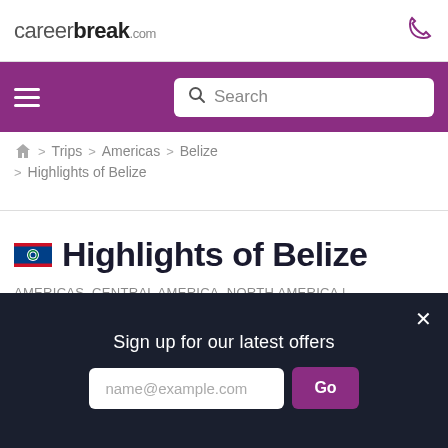careerbreak.com
[Figure (screenshot): Purple navigation bar with hamburger menu icon and search box]
🏠 > Trips > Americas > Belize > Highlights of Belize
Highlights of Belize
AMERICAS, CENTRAL AMERICA, NORTH AMERICA | BELIZE | ACTIVITY AND ADVENTURE, CULTURAL EXPERIENCES, OUTDOOR ADVENTURE, TOURS, WALKING
Sign up for our latest offers